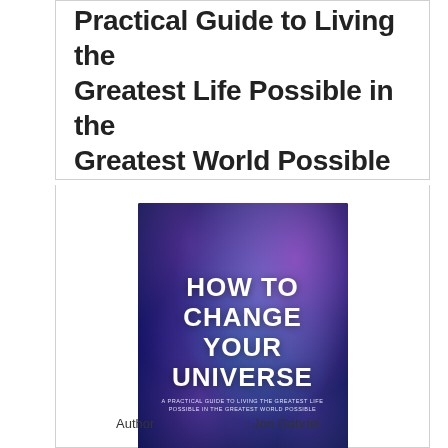Practical Guide to Living the Greatest Life Possible in the Greatest World Possible
[Figure (illustration): Book cover of 'How to Change Your Universe' by Jon Gabriel. Dark blue/purple cosmic nebula background with bold white title text and subtitle 'A Practical Guide to Living the Greatest Life Possible in the Greatest World Possible'.]
Author : Jon Gabriel